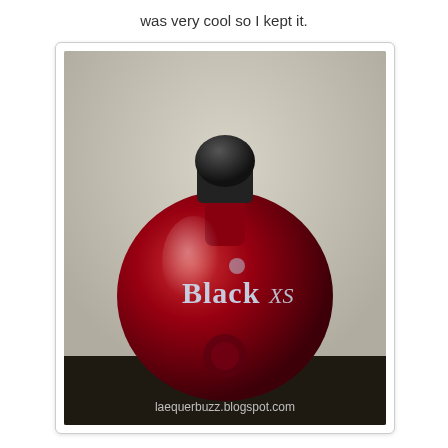was very cool so I kept it.
[Figure (photo): A heart-shaped dark red/burgundy perfume bottle labeled 'Black XS' with a black rounded cap, with a rose embossed at the bottom. Watermark reads 'laequerbuzz.blogspot.com'.]